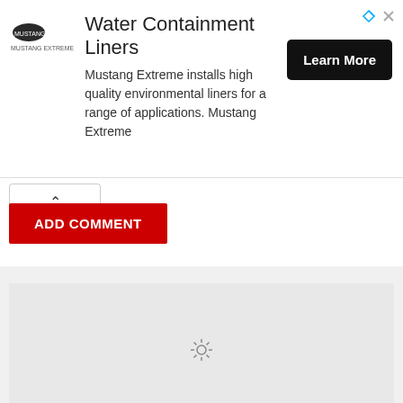[Figure (screenshot): Advertisement banner for Water Containment Liners by Mustang Extreme with logo, descriptive text, and Learn More button]
ADD COMMENT
[Figure (screenshot): Gray loading placeholder box with spinning sun/loading icon in center]
[Figure (photo): Photo of a man holding or next to a book titled AMERICAN RESTORATION]